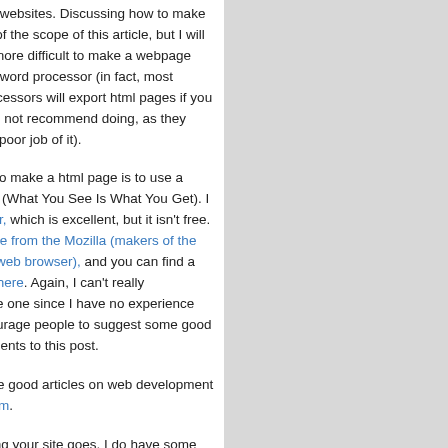making their own websites. Discussing how to make webpages is out of the scope of this article, but I will note that it is no more difficult to make a webpage than it is to use a word processor (in fact, most modern word processors will export html pages if you want… which I do not recommend doing, as they usually do a very poor job of it).
The easiest way to make a html page is to use a WYSIWYG editor (What You See Is What You Get). I use Dreamweaver, which is excellent, but it isn't free. There is a free one from the Mozilla (makers of the excellent Firefox web browser), and you can find a list of other ones here. Again, I can't really recommend a free one since I have no experience with them. I encourage people to suggest some good ones in the comments to this post.
You can find some good articles on web development at webmonkey.com.
As far as designing your site goes, I do have some advice.